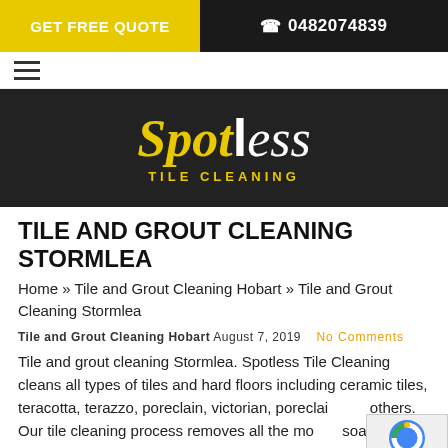GET FREE QUOTE   0482074839
[Figure (logo): Spotless Tile Cleaning logo with yellow and white stylized text on dark background]
TILE AND GROUT CLEANING STORMLEA
Home » Tile and Grout Cleaning Hobart » Tile and Grout Cleaning Stormlea
Tile and Grout Cleaning Hobart  August 7, 2019   No Comments
Tile and grout cleaning Stormlea. Spotless Tile Cleaning cleans all types of tiles and hard floors including ceramic tiles, teracotta, terazzo, poreclain, victorian, poreclain and others. Our tile cleaning process removes all the mould, soap and residues from the tiles. 24/7 availability. Call 1800